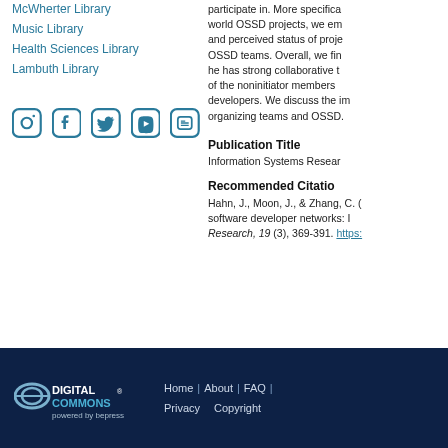McWherter Library
Music Library
Health Sciences Library
Lambuth Library
[Figure (illustration): Social media icons: Instagram, Facebook, Twitter, YouTube, Blogger in teal color]
participate in. More specifically, in the context of world OSSD projects, we empirically examine the size and perceived status of project members on various OSSD teams. Overall, we find that he has strong collaborative tendencies and that many of the noninitiator members are core developers. We discuss the implications for self-organizing teams and OSSD.
Publication Title
Information Systems Research
Recommended Citation
Hahn, J., Moon, J., & Zhang, C. ( software developer networks: Information Systems Research, 19 (3), 369-391. https:
Home | About | FAQ | Privacy Copyright